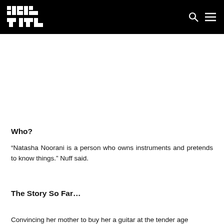Wild City
Who?
“Natasha Noorani is a person who owns instruments and pretends to know things.” Nuff said.
The Story So Far…
Convincing her mother to buy her a guitar at the tender age